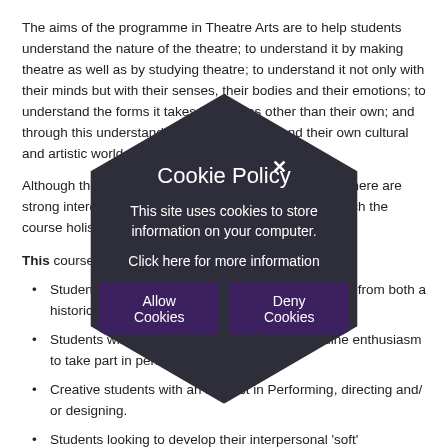The aims of the programme in Theatre Arts are to help students understand the nature of the theatre; to understand it by making theatre as well as by studying theatre; to understand it not only with their minds but with their senses, their bodies and their emotions; to understand the forms it takes in cultures other than their own; and through this understanding of art to understand their own cultural and artistic world.
Although the programme permits some specialisation, there are strong interdisciplinary elements. The study aims to teach the course holistically.
This course is designed for:
Students with an interest in the world of the theatre from both a historical and cultural perspective.
Students will need plenty of energy and a genuine enthusiasm to take part in performances.
Creative students with an interest in Performing, directing and/ or designing.
Students looking to develop their interpersonal 'soft'
[Figure (screenshot): Cookie policy modal overlay with dark hexagonal/circular shape. Title 'Cookie Policy', body text 'This site uses cookies to store information on your computer.', link 'Click here for more information', and two buttons: 'Allow Cookies' and 'Deny Cookies'. A close (X) button appears at the top right.]